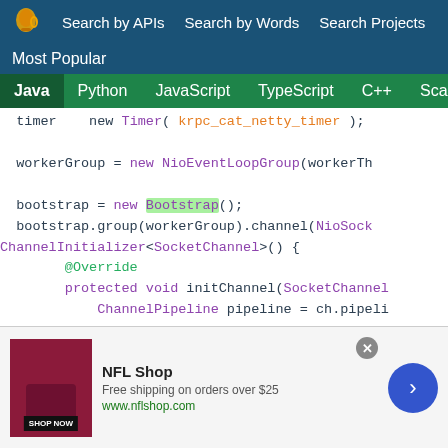Search by APIs  Search by Words  Search Projects
Most Popular
Java  Python  JavaScript  TypeScript  C++  Scala
[Figure (screenshot): Java code snippet showing Netty bootstrap setup with NioEventLoopGroup, Bootstrap, ChannelInitializer, SocketChannel, ChannelPipeline, and pipeline.addLast calls]
[Figure (screenshot): Advertisement banner for NFL Shop showing 'Free shipping on orders over $25' with shop now button and navigation arrow]